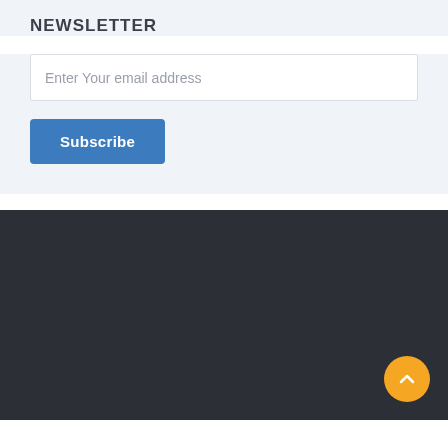NEWSLETTER
Enter Your email address
Subscribe
[Figure (other): Dark footer section with back-to-top orange circular button containing an upward chevron arrow]